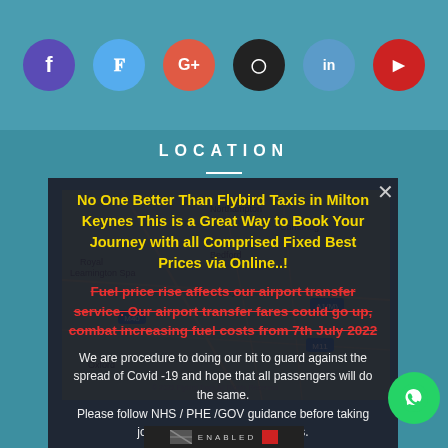[Figure (infographic): Row of 6 circular social media icons: Facebook (purple), Twitter (blue), Google+ (red), Instagram (black), LinkedIn (blue), YouTube (red)]
LOCATION
[Figure (map): Road map showing Milton Keynes area in UK, including Northampton, Bedford, Cambridge, Royal Leamington Spa, Oxford, with motorway markers M40, M1, A1(M)]
No One Better Than Flybird Taxis in Milton Keynes This is a Great Way to Book Your Journey with all Comprised Fixed Best Prices via Online..!
Fuel price rise affects our airport transfer service. Our airport transfer fares could go up, combat increasing fuel costs from 7th July 2022
We are procedure to doing our bit to guard against the spread of Covid -19 and hope that all passengers will do the same. Please follow NHS / PHE /GOV guidance before taking journeys in private-hire vehicles.